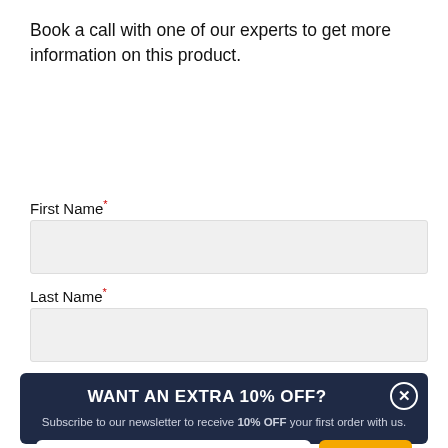Book a call with one of our experts to get more information on this product.
First Name *
Last Name *
WANT AN EXTRA 10% OFF?
Subscribe to our newsletter to receive 10% OFF your first order with us.
Email
SIGN UP
*Exclusions apply. Bikes and frames are not part of this offer. See our privacy policy for full details of how we use your data.